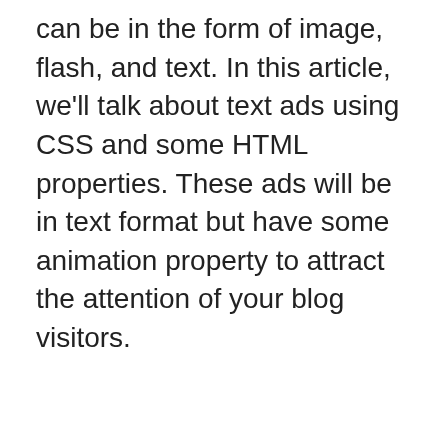can be in the form of image, flash, and text. In this article, we'll talk about text ads using CSS and some HTML properties. These ads will be in text format but have some animation property to attract the attention of your blog visitors.